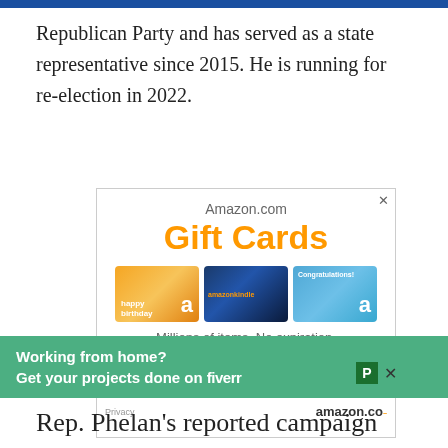Republican Party and has served as a state representative since 2015. He is running for re-election in 2022.
[Figure (advertisement): Amazon.com Gift Cards advertisement showing three gift card designs (happy birthday, Amazon Kindle, Congratulations) with text 'Millions of items. No expiration.' and 'Shop now' link]
[Figure (advertisement): Fiverr green banner advertisement: 'Working from home? Get your projects done on fiverr']
Rep. Phelan's reported campaign